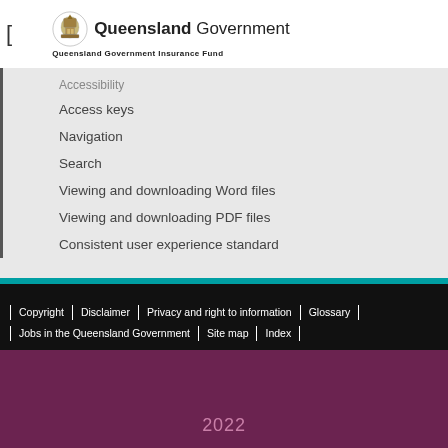[Figure (logo): Queensland Government logo with coat of arms crest and text 'Queensland Government' with 'Queensland Government Insurance Fund' below]
Accessibility
Access keys
Navigation
Search
Viewing and downloading Word files
Viewing and downloading PDF files
Consistent user experience standard
Copyright | Disclaimer | Privacy and right to information | Glossary | Jobs in the Queensland Government | Site map | Index
2022